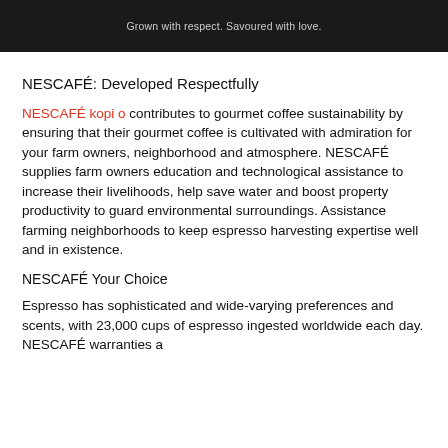Grown with respect. Savoured with love.
NESCAFÉ: Developed Respectfully
NESCAFÉ kopi o contributes to gourmet coffee sustainability by ensuring that their gourmet coffee is cultivated with admiration for your farm owners, neighborhood and atmosphere. NESCAFÉ supplies farm owners education and technological assistance to increase their livelihoods, help save water and boost property productivity to guard environmental surroundings. Assistance farming neighborhoods to keep espresso harvesting expertise well and in existence.
NESCAFÉ Your Choice
Espresso has sophisticated and wide-varying preferences and scents, with 23,000 cups of espresso ingested worldwide each day. NESCAFÉ warranties a